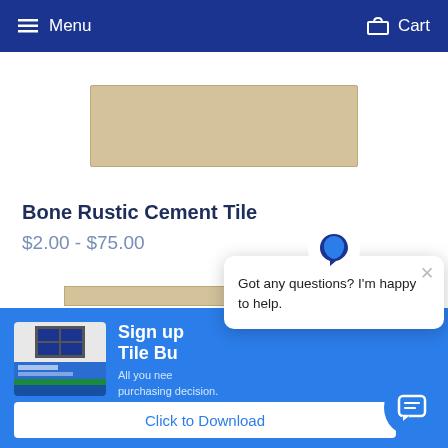Menu  Cart
[Figure (photo): A rectangular bone/beige colored rustic cement tile on white background]
Bone Rustic Cement Tile
$2.00 - $75.00
[Figure (screenshot): Blue promotional banner with book image for Cement Tile Buying Guide and chat popup overlay reading 'Got any questions? I'm happy to help.' with close button and chat bubble icon]
Sign up  Tile Bu  All you nee  purchasing decision.
Click to Download
Got any questions? I'm happy to help.